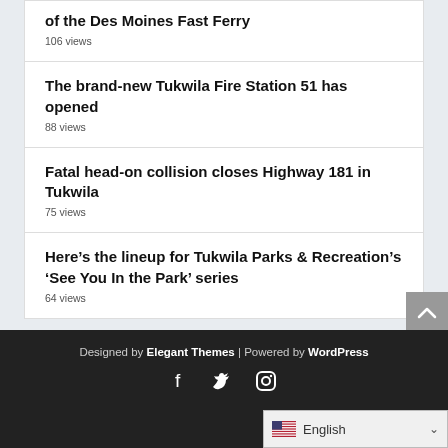of the Des Moines Fast Ferry
106 views
The brand-new Tukwila Fire Station 51 has opened
88 views
Fatal head-on collision closes Highway 181 in Tukwila
75 views
Here’s the lineup for Tukwila Parks & Recreation’s ‘See You In the Park’ series
64 views
Designed by Elegant Themes | Powered by WordPress